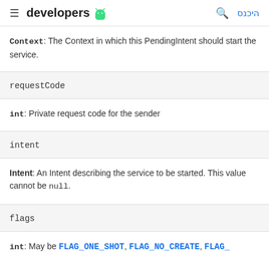developers [android logo] [search] היכנס
Context: The Context in which this PendingIntent should start the service.
requestCode
int: Private request code for the sender
intent
Intent: An Intent describing the service to be started. This value cannot be null.
flags
int: May be FLAG_ONE_SHOT, FLAG_NO_CREATE, FLAG_...